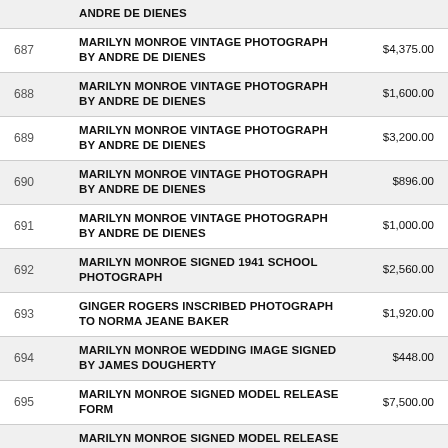| Lot | Description | Price |
| --- | --- | --- |
|  | ANDRE de DIENES |  |
| 687 | MARILYN MONROE VINTAGE PHOTOGRAPH BY ANDRE de DIENES | $4,375.00 |
| 688 | MARILYN MONROE VINTAGE PHOTOGRAPH BY ANDRE de DIENES | $1,600.00 |
| 689 | MARILYN MONROE VINTAGE PHOTOGRAPH BY ANDRE de DIENES | $3,200.00 |
| 690 | MARILYN MONROE VINTAGE PHOTOGRAPH BY ANDRE de DIENES | $896.00 |
| 691 | MARILYN MONROE VINTAGE PHOTOGRAPH BY ANDRE de DIENES | $1,000.00 |
| 692 | MARILYN MONROE SIGNED 1941 SCHOOL PHOTOGRAPH | $2,560.00 |
| 693 | GINGER ROGERS INSCRIBED PHOTOGRAPH TO NORMA JEANE BAKER | $1,920.00 |
| 694 | MARILYN MONROE WEDDING IMAGE SIGNED BY JAMES DOUGHERTY | $448.00 |
| 695 | MARILYN MONROE SIGNED MODEL RELEASE FORM | $7,500.00 |
|  | MARILYN MONROE SIGNED MODEL RELEASE |  |